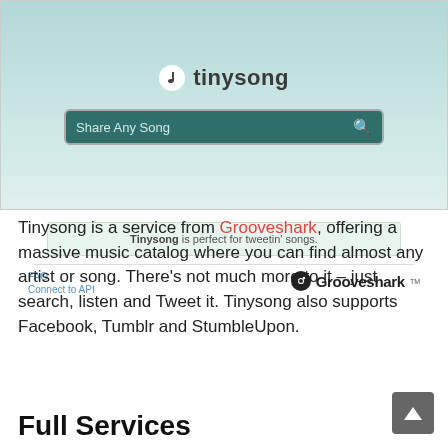[Figure (screenshot): Tinysong website screenshot showing logo with music note icon, a dark teal search bar labeled 'Share Any Song', a light green tagline box saying 'Tinysong is perfect for tweetin' songs.', FAQ and Connect to API links, and a Grooveshark logo with TM mark.]
Tinysong is a service from Grooveshark, offering a massive music catalog where you can find almost any artist or song. There’s not much more to it – just search, listen and Tweet it. Tinysong also supports Facebook, Tumblr and StumbleUpon.
Full Services